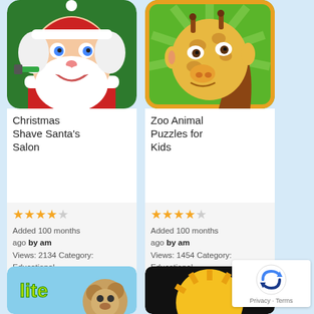[Figure (screenshot): App icon for Christmas Shave Santa's Salon - cartoon Santa face]
Christmas Shave Santa's Salon
Added 100 months ago by am
Views: 2134 Category: Educational
[Figure (screenshot): App icon for Zoo Animal Puzzles for Kids - cartoon giraffe face]
Zoo Animal Puzzles for Kids
Added 100 months ago by am
Views: 1454 Category: Educational
[Figure (screenshot): Bottom left app icon - Lite bear app]
[Figure (screenshot): Bottom right app icon - colorful circular icon]
[Figure (other): reCAPTCHA badge with Privacy and Terms links]